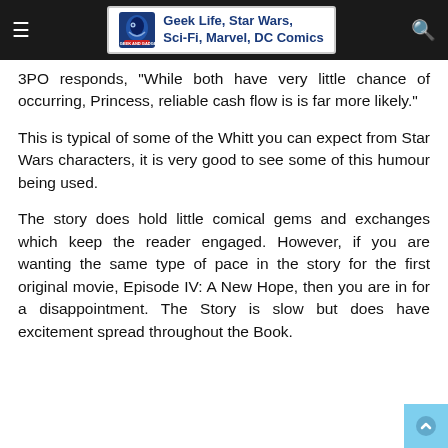Geek Life, Star Wars, Sci-Fi, Marvel, DC Comics
3PO responds, "While both have very little chance of occurring, Princess, reliable cash flow is is far more likely."
This is typical of some of the Whitt you can expect from Star Wars characters, it is very good to see some of this humour being used.
The story does hold little comical gems and exchanges which keep the reader engaged. However, if you are wanting the same type of pace in the story for the first original movie, Episode IV: A New Hope, then you are in for a disappointment. The Story is slow but does have excitement spread throughout the Book.